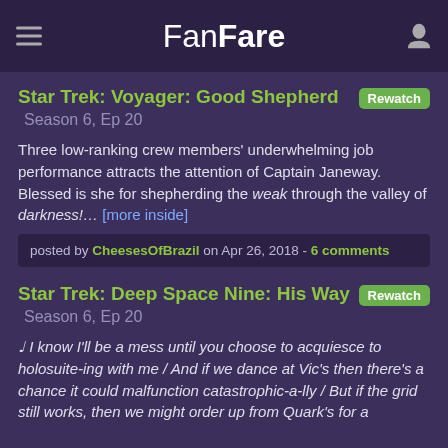FanFare
Star Trek: Voyager: Good Shepherd  Rewatch  Season 6, Ep 20
Three low-ranking crew members' underwhelming job performance attracts the attention of Captain Janeway. Blessed is she for shepherding the weak through the valley of darkness!… [more inside]
posted by CheesesOfBrazil on Apr 26, 2018 - 6 comments
Star Trek: Deep Space Nine: His Way  Rewatch  Season 6, Ep 20
♩ I know I'll be a mess until you choose to acquiesce to holosuite-ing with me / And if we dance at Vic's then there's a chance it could malfunction catastrophic-a-lly / But if the grid still works, then we might order up from Quark's for a